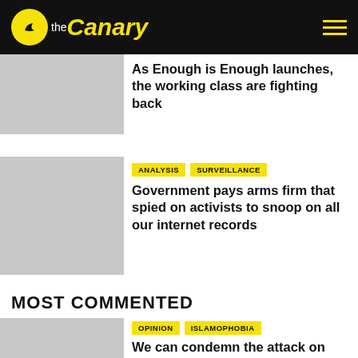the Canary
As Enough is Enough launches, the working class are fighting back
Government pays arms firm that spied on activists to snoop on all our internet records
MOST COMMENTED
We can condemn the attack on Salman Rushdie without punching down on Muslims